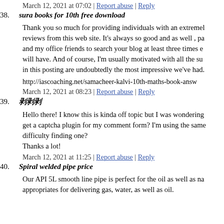March 12, 2021 at 07:02 | Report abuse | Reply
38. sura books for 10th free download
Thank you so much for providing individuals with an extremely remarkable reviews from this web site. It's always so good and as well , pa and my office friends to search your blog at least three times e will have. And of course, I'm usually motivated with all the su in this posting are undoubtedly the most impressive we've had.
http://iascoaching.net/samacheer-kalvi-10th-maths-book-answ
March 12, 2021 at 08:23 | Report abuse | Reply
39. 剥剥剥
Hello there! I know this is kinda off topic but I was wondering get a captcha plugin for my comment form? I'm using the same difficulty finding one?
Thanks a lot!
March 12, 2021 at 11:25 | Report abuse | Reply
40. Spiral welded pipe price
Our API 5L smooth line pipe is perfect for the oil as well as na appropriates for delivering gas, water, as well as oil.